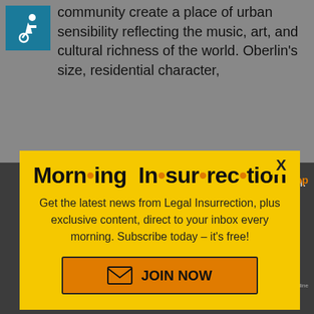[Figure (illustration): Accessibility icon (wheelchair symbol) in teal/blue square]
community create a place of urban sensibility reflecting the music, art, and cultural richness of the world. Oberlin's size, residential character,
steal from with impunity. So screw them.
[Figure (screenshot): Back To Top link in orange text]
[Figure (screenshot): NEXT button in blue with double arrow]
on News Online
Casey in reply to Gremlin1974
[Figure (infographic): Morning Insurrection popup modal with yellow background. Title: Morning Insurrection. Body: Get the latest news from Legal Insurrection, plus exclusive content, direct to your inbox every morning. Subscribe today – it's free! Button: JOIN NOW]
X (close button for popup)
X (close button in bottom section)